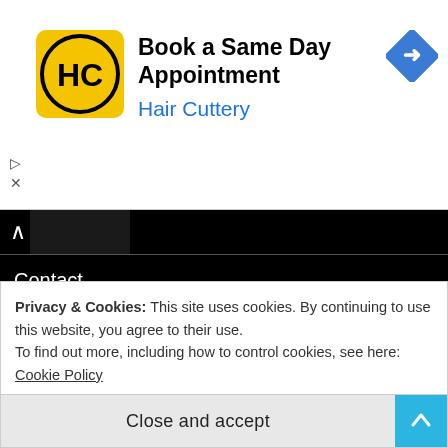[Figure (screenshot): Hair Cuttery ad banner with HC logo and arrow navigation icon. Text: 'Book a Same Day Appointment' and 'Hair Cuttery' in blue.]
Contact
Privacy Policy
Advertise
Support
Privacy & Cookies: This site uses cookies. By continuing to use this website, you agree to their use.
To find out more, including how to control cookies, see here: Cookie Policy
Close and accept